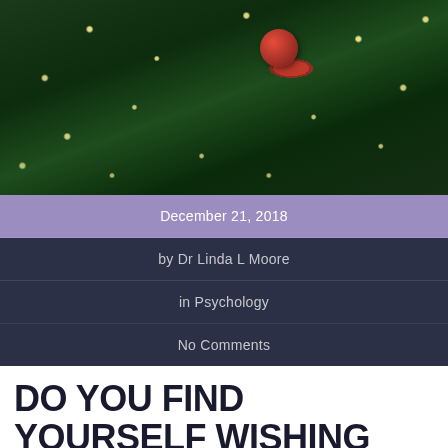[Figure (photo): Close-up photograph of a Christmas tree with green pine needles, warm fairy lights, and a red ornament ball hanging prominently on the right side.]
December 21, 2018
by Dr Linda L Moore
in Psychology
No Comments
DO YOU FIND YOURSELF WISHING FOR A SIMPLE, STRESS FREE, RELAXING HOLIDAY SEASON?